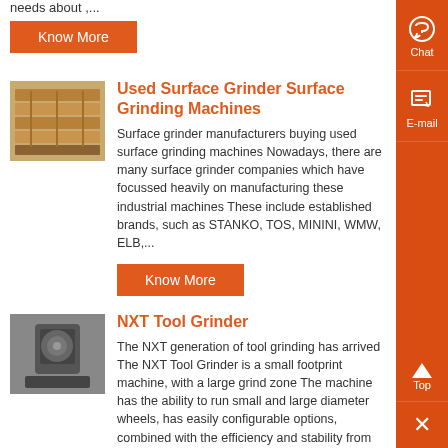needs about ,...
Know More
Used Surface Grinder Surface Grinding Machines
Surface grinder manufacturers buying used surface grinding machines Nowadays, there are many surface grinder companies which have focussed heavily on manufacturing these industrial machines These include established brands, such as STANKO, TOS, MININI, WMW, ELB,...
Know More
NXT Tool Grinder
The NXT generation of tool grinding has arrived The NXT Tool Grinder is a small footprint machine, with a large grind zone The machine has the ability to run small and large diameter wheels, has easily configurable options, combined with the efficiency and stability from previous Star ,...
Know More